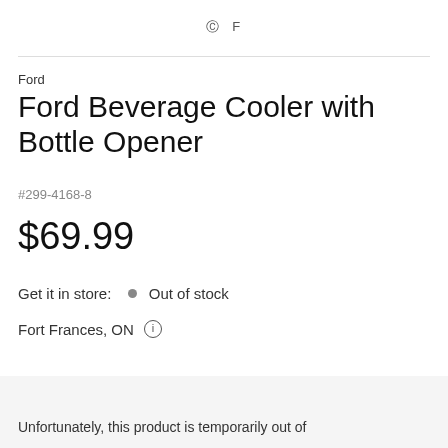C  F
Ford
Ford Beverage Cooler with Bottle Opener
#299-4168-8
$69.99
Get it in store:  • Out of stock
Fort Frances, ON ℹ
Unfortunately, this product is temporarily out of